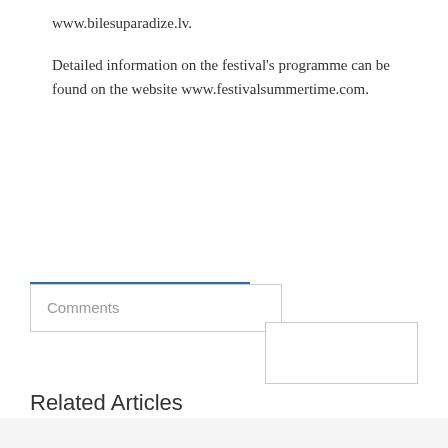www.bilesuparadize.lv.
Detailed information on the festival's programme can be found on the website www.festivalsummertime.com.
Comments
Related Articles
[Figure (screenshot): Wayfair advertisement banner showing Top Appliances Low Prices with appliance image and Shop now button, with infolinks badge]